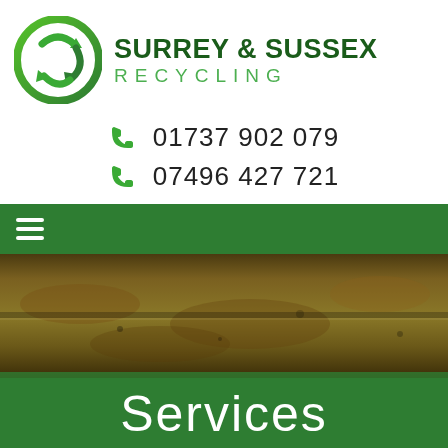[Figure (logo): Surrey & Sussex Recycling logo with green circular recycling arrows icon and company name text]
01737 902 079
07496 427 721
[Figure (photo): Close-up photo of rusty/weathered yellow metal surface, likely a skip or container]
Services